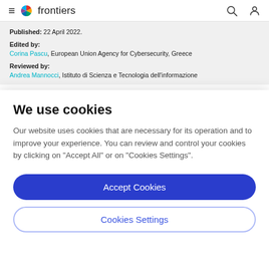frontiers
Published: 22 April 2022.
Edited by: Corina Pascu, European Union Agency for Cybersecurity, Greece
Reviewed by: Andrea Mannocci, Istituto di Scienza e Tecnologia dell'informazione
We use cookies
Our website uses cookies that are necessary for its operation and to improve your experience. You can review and control your cookies by clicking on "Accept All" or on "Cookies Settings".
Accept Cookies
Cookies Settings